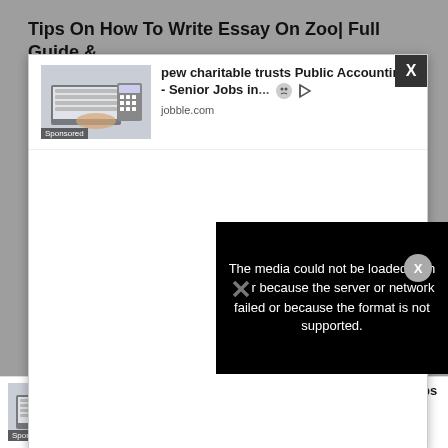Tips On How To Write Essay On Zoo| Full Guide & Sample
[Figure (screenshot): Advertisement modal overlay showing a sponsored job listing for 'pew charitable trusts Public Accounting - Senior Jobs in...' from jobble.com, with a photo of a person using a laptop and calculator. Modal has an X close button.]
[Figure (screenshot): Black video error box reading 'The media could not be loaded, either because the server or network failed or because the format is not supported.' with an X mark overlay and a circular X dismiss button.]
10 Be...
[Figure (screenshot): Bottom advertisement bar showing sponsored job listing for 'pew charitable trusts Public Accounting - Senior Jobs in...' from jobble.com with thumbnail image.]